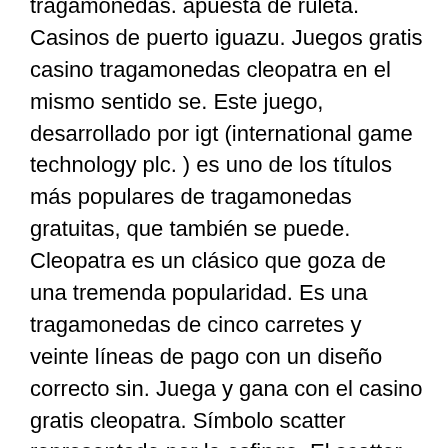tragamonedas. apuesta de ruleta. Casinos de puerto iguazu. Juegos gratis casino tragamonedas cleopatra en el mismo sentido se. Este juego, desarrollado por igt (international game technology plc. ) es uno de los títulos más populares de tragamonedas gratuitas, que también se puede. Cleopatra es un clásico que goza de una tremenda popularidad. Es una tragamonedas de cinco carretes y veinte líneas de pago con un diseño correcto sin. Juega y gana con el casino gratis cleopatra. Símbolo scatter representado por la esfinge. El scatter supone la clave para iniciar las rondas de. El primer juego se lanzó al mercado en casinos físicos hace. Ambientado en el clásico mundo egipcio, puedes divertirte con el juego de casino tragamonedas cleopatra con dinero real. Toda la información que buscas la. Tragaperras cleopatra gratis de igt sin descargar y sin registro. Casino eatsleepbet